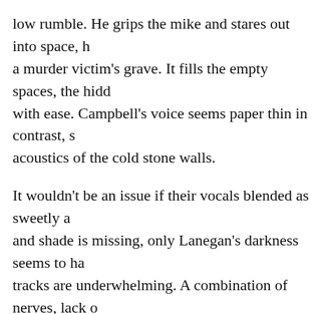low rumble. He grips the mike and stares out into space, h a murder victim's grave. It fills the empty spaces, the hidd with ease. Campbell's voice seems paper thin in contrast, s acoustics of the cold stone walls.
It wouldn't be an issue if their vocals blended as sweetly a and shade is missing, only Lanegan's darkness seems to ha tracks are underwhelming. A combination of nerves, lack o atmosphere of St George's ruining any chance of building
There is no audible communication between Campbell and couple on a first date or an ageing partnership after one he Lanegan keeps disappearing off stage. During one of Lane take flight. Reaching for a series of notes at the top end of Campbell visibly relaxes. It dawns on her that she can take rebuked by the audience. Her confidence blossoms and the There is a lightness in her voice, a playful skip in her step.